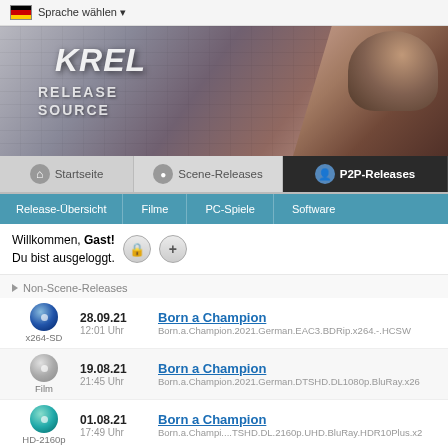Sprache wählen
[Figure (screenshot): Website banner with KREL Release Resource logo and a woman looking down]
Startseite | Scene-Releases | P2P-Releases
Release-Übersicht | Filme | PC-Spiele | Software
Willkommen, Gast! Du bist ausgeloggt.
Non-Scene-Releases
28.09.21 12:01 Uhr | Born a Champion | Born.a.Champion.2021.German.EAC3.BDRip.x264.-.HCSW | x264-SD
19.08.21 21:45 Uhr | Born a Champion | Born.a.Champion.2021.German.DTSHD.DL1080p.BluRay.x26 | Film
01.08.21 17:49 Uhr | Born a Champion | Born.a.Champi....TSHD.DL.2160p.UHD.BluRay.HDR10Plus.x2 | HD-2160p
27.07.21 16:41 Uhr | Born a Champion | Born.a.Champio...y.Hybrid.REMUX.HDR.HEVC.DTS-HD.MA. | HD-2160p
16.07.21 | Born a Champion